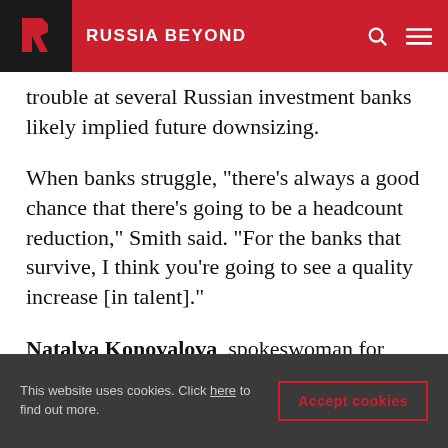RUSSIA BEYOND
trouble at several Russian investment banks likely implied future downsizing.
When banks struggle, "there's always a good chance that there's going to be a headcount reduction," Smith said. "For the banks that survive, I think you're going to see a quality increase [in talent]."
Natalya Konovalova, spokeswoman for PIK Group, one of the country's largest residential construction companies, said that while PIK itself
This website uses cookies. Click here to find out more.
Accept cookies